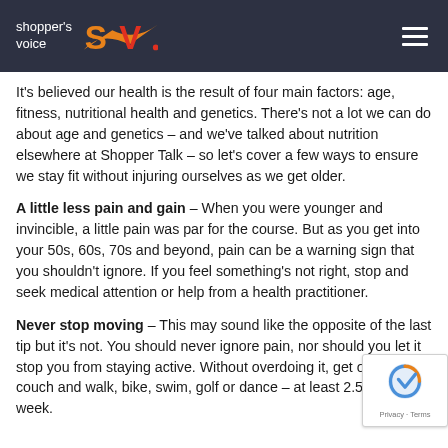shopper's voice SV
It's believed our health is the result of four main factors: age, fitness, nutritional health and genetics. There's not a lot we can do about age and genetics – and we've talked about nutrition elsewhere at Shopper Talk – so let's cover a few ways to ensure we stay fit without injuring ourselves as we get older.
A little less pain and gain – When you were younger and invincible, a little pain was par for the course. But as you get into your 50s, 60s, 70s and beyond, pain can be a warning sign that you shouldn't ignore. If you feel something's not right, stop and seek medical attention or help from a health practitioner.
Never stop moving – This may sound like the opposite of the last tip but it's not. You should never ignore pain, nor should you let it stop you from staying active. Without overdoing it, get off your couch and walk, bike, swim, golf or dance – at least 2.5 hours a week.